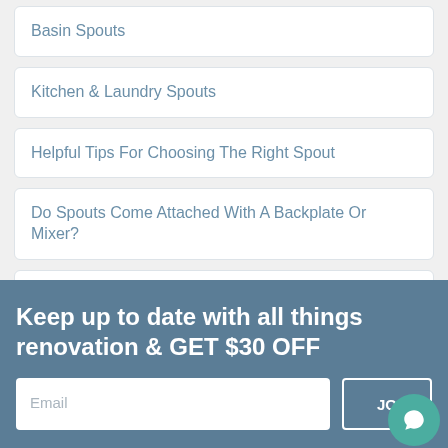Basin Spouts
Kitchen & Laundry Spouts
Helpful Tips For Choosing The Right Spout
Do Spouts Come Attached With A Backplate Or Mixer?
Which Mixer Do You Need If You Want A Spout For A Shower/Bath Application?
What Is The Most Common Size For Spouts?
Keep up to date with all things renovation & GET $30 OFF
Email